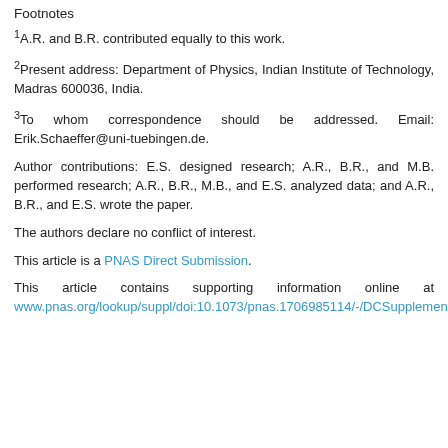Footnotes
1A.R. and B.R. contributed equally to this work.
2Present address: Department of Physics, Indian Institute of Technology, Madras 600036, India.
3To whom correspondence should be addressed. Email: Erik.Schaeffer@uni-tuebingen.de.
Author contributions: E.S. designed research; A.R., B.R., and M.B. performed research; A.R., B.R., M.B., and E.S. analyzed data; and A.R., B.R., and E.S. wrote the paper.
The authors declare no conflict of interest.
This article is a PNAS Direct Submission.
This article contains supporting information online at www.pnas.org/lookup/suppl/doi:10.1073/pnas.1706985114/-/DCSupplemental.